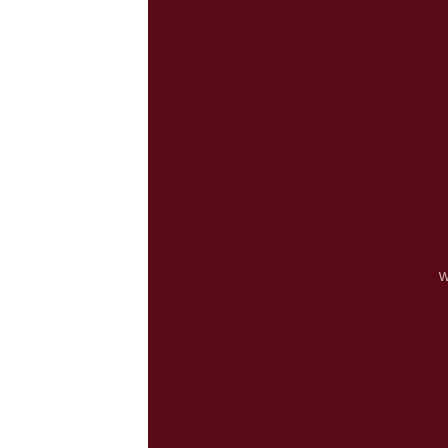Packhorse Road
Gerrards Cross
Buckinghamshire
United Kingdom
SL9 7JT
+44 (0) 203 790 8880
info@dialogueevents.com
www.dialogueevents.com
COVID 19
PRIVACY POLICY
WEBSITE TERMS OF USE
TERMS & CONDITIONS
[Figure (illustration): Grey circular scroll-to-top button with an upward-pointing chevron/caret arrow icon]
© DIALOGUE